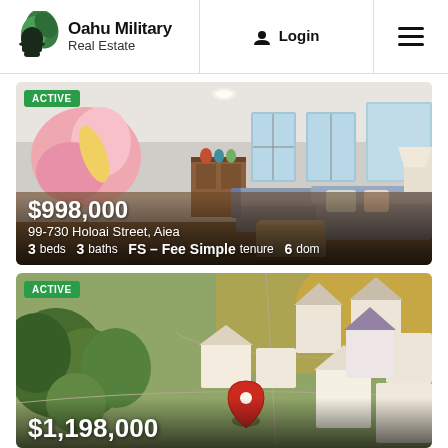Oahu Military Real Estate — Login / Menu navigation bar
[Figure (photo): Interior photo of a living room with colorful wall art, mid-century modern dresser, and sectional sofa. Listing card overlay showing $998,000 price, address 99-730 Holoai Street, Aiea, 3 beds, 3 baths, FS - Fee Simple tenure, 6 dom. Green ACTIVE badge.]
[Figure (photo): Aerial drone photo of a suburban neighborhood at golden hour showing houses, trees, streets. Listing card with green ACTIVE badge and price starting $1,198,000 partially visible at bottom.]